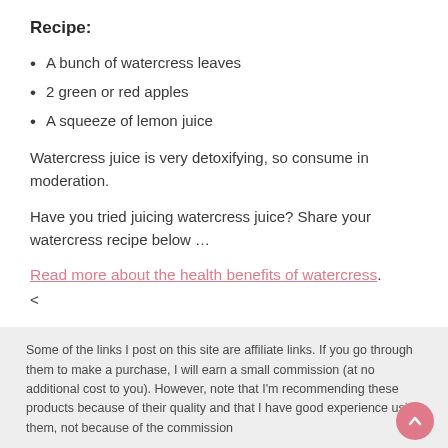Recipe:
A bunch of watercress leaves
2 green or red apples
A squeeze of lemon juice
Watercress juice is very detoxifying, so consume in moderation.
Have you tried juicing watercress juice? Share your watercress recipe below …
Read more about the health benefits of watercress.
<
Some of the links I post on this site are affiliate links. If you go through them to make a purchase, I will earn a small commission (at no additional cost to you). However, note that I'm recommending these products because of their quality and that I have good experience using them, not because of the commission